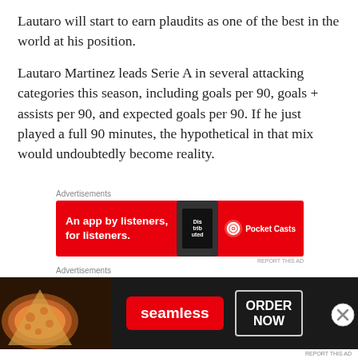Lautaro will start to earn plaudits as one of the best in the world at his position.
Lautaro Martinez leads Serie A in several attacking categories this season, including goals per 90, goals + assists per 90, and expected goals per 90. If he just played a full 90 minutes, the hypothetical in that mix would undoubtedly become reality.
[Figure (other): Advertisement banner for Pocket Casts: red background with text 'An app by listeners, for listeners.' and phone graphic with 'Pocket Casts' logo]
3.3
[Figure (other): Advertisement banner for Seamless: dark background with pizza image, Seamless red button, and 'ORDER NOW' button]